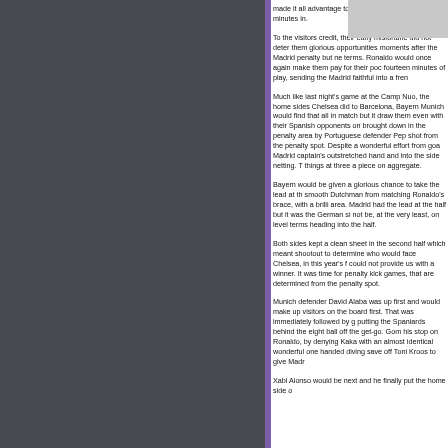made it all advantage to go up 2-1, just en minutes in.
To the visitors credit, their early misfortune did not deter them glorious opportunities moments after the Madrid penalty but ne terms. Ronaldo would once again make them pay for their poc fourteen minutes of play, sending the Madrid faithful into a fren
Much like last night's game at the Camp Nuo, the home sides Chelsea did to Barcelona, Bayern Munich would find that all in match but it draw them even with their Spanish opponents on brought down in the penalty area by Portuguese defender Pep shot from the penalty spot. Despite a wonderful effort from goa Madrid captain's outstretched hand and into the side netting. T things at three a piece on aggregate.
Bayern would be given a glorious chance to take the lead at th smooth Dutchman from matching Ronaldo's brace, with a brilli area. Madrid had the lead at the half but it was the German si not be, at the very least, on level terms heading into the half.
Both sides kept a clean sheet in the second half which meant shootout to determine who would face Chelsea, in this year's f could not provide us with a winner. It was time for penalty kick games, that are determined from the penalty spot.
Munich defender David Alaba was up first and would make up visitors on the board first. That was immediately followed by g putting the Spaniards behind the eight ball off the get-go. Gom his stop on Ronaldo, by denying Kaka with an almost identical wonderful one handed diving save off Toni Kroos to give Madr
Xabi Alonso would be next and he finally put the home side o